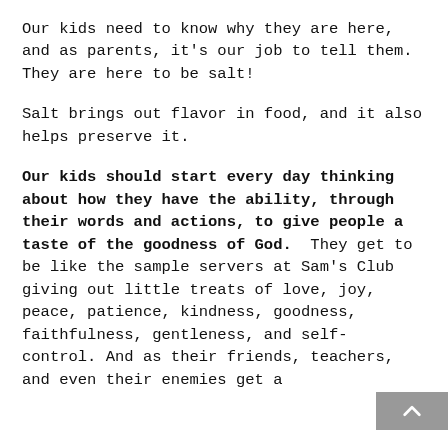Our kids need to know why they are here, and as parents, it's our job to tell them.  They are here to be salt!
Salt brings out flavor in food, and it also helps preserve it.
Our kids should start every day thinking about how they have the ability, through their words and actions, to give people a taste of the goodness of God.  They get to be like the sample servers at Sam's Club giving out little treats of love, joy, peace, patience, kindness, goodness, faithfulness, gentleness, and self-control. And as their friends, teachers, and even their enemies get a